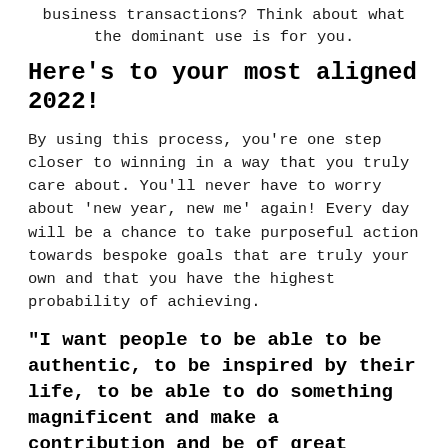business transactions? Think about what the dominant use is for you.
Here's to your most aligned 2022!
By using this process, you're one step closer to winning in a way that you truly care about. You'll never have to worry about 'new year, new me' again! Every day will be a chance to take purposeful action towards bespoke goals that are truly your own and that you have the highest probability of achieving.
“I want people to be able to be authentic, to be inspired by their life, to be able to do something magnificent and make a contribution and be of great service so they can have fun and fulfilment in life.”